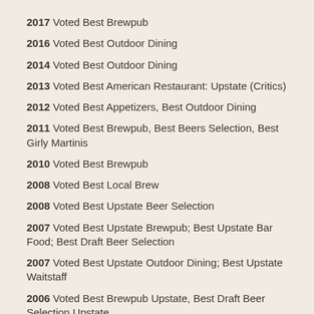2017 Voted Best Brewpub
2016 Voted Best Outdoor Dining
2014 Voted Best Outdoor Dining
2013 Voted Best American Restaurant: Upstate (Critics)
2012 Voted Best Appetizers, Best Outdoor Dining
2011 Voted Best Brewpub, Best Beers Selection, Best Girly Martinis
2010 Voted Best Brewpub
2008 Voted Best Local Brew
2008 Voted Best Upstate Beer Selection
2007 Voted Best Upstate Brewpub; Best Upstate Bar Food; Best Draft Beer Selection
2007 Voted Best Upstate Outdoor Dining; Best Upstate Waitstaff
2006 Voted Best Brewpub Upstate, Best Draft Beer Selection Upstate